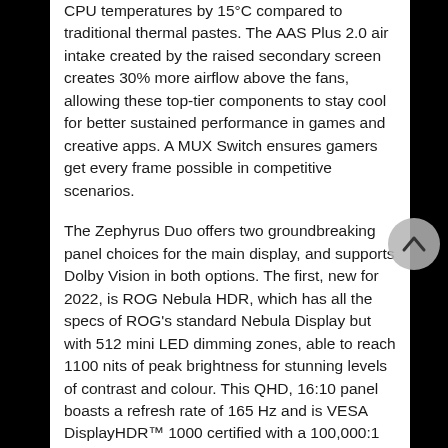CPU temperatures by 15°C compared to traditional thermal pastes. The AAS Plus 2.0 air intake created by the raised secondary screen creates 30% more airflow above the fans, allowing these top-tier components to stay cool for better sustained performance in games and creative apps. A MUX Switch ensures gamers get every frame possible in competitive scenarios.
The Zephyrus Duo offers two groundbreaking panel choices for the main display, and supports Dolby Vision in both options. The first, new for 2022, is ROG Nebula HDR, which has all the specs of ROG's standard Nebula Display but with 512 mini LED dimming zones, able to reach 1100 nits of peak brightness for stunning levels of contrast and colour. This QHD, 16:10 panel boasts a refresh rate of 165 Hz and is VESA DisplayHDR™ 1000 certified with a 100,000:1 contrast ratio. For the